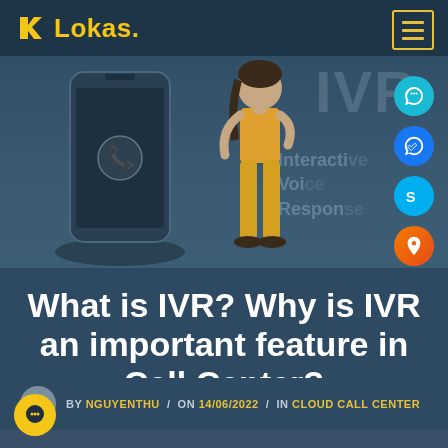Lokas
[Figure (screenshot): Hero image showing a smartphone with phone icon, a stylized person/woman illustration, and IVR (Interactive Voice Response) text overlay with icons on the right side including phone, chat, Skype, and map icons]
What is IVR? Why is IVR an important feature in Call Center?
BY NGUYENTHU / ON 14/06/2022 / IN CLOUD CALL CENTER